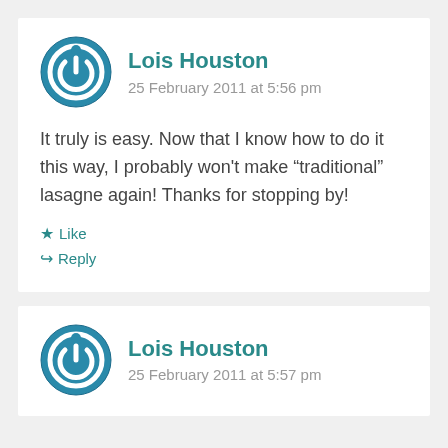Lois Houston
25 February 2011 at 5:56 pm
It truly is easy. Now that I know how to do it this way, I probably won't make "traditional" lasagne again! Thanks for stopping by!
Like
Reply
Lois Houston
25 February 2011 at 5:57 pm